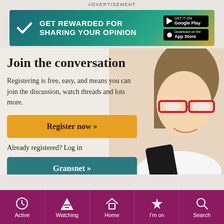ADVERTISEMENT
[Figure (infographic): Advertisement banner: GET REWARDED FOR SHARING YOUR OPINION with Google Play and App Store badges on teal/golden background with checkmark logo]
Join the conversation
Registering is free, easy, and means you can join the discussion, watch threads and lots more.
Register now »
Already registered? Log in
Gransnet »
Active  Watching  Home  I'm on  Search